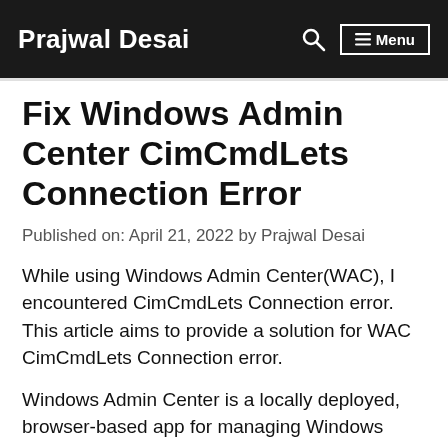Prajwal Desai  Menu
Fix Windows Admin Center CimCmdLets Connection Error
Published on: April 21, 2022 by Prajwal Desai
While using Windows Admin Center(WAC), I encountered CimCmdLets Connection error. This article aims to provide a solution for WAC CimCmdLets Connection error.
Windows Admin Center is a locally deployed, browser-based app for managing Windows